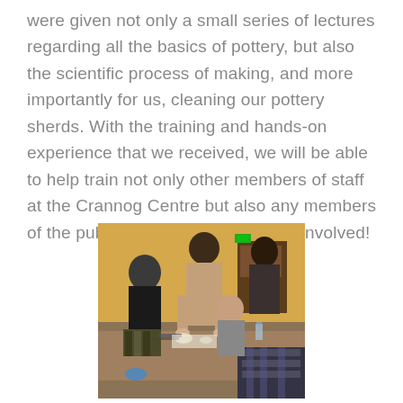were given not only a small series of lectures regarding all the basics of pottery, but also the scientific process of making, and more importantly for us, cleaning our pottery sherds. With the training and hands-on experience that we received, we will be able to help train not only other members of staff at the Crannog Centre but also any members of the public who might want to get involved!
[Figure (photo): A group of people gathered around a table indoors, working on pottery or archaeological materials. A person in a beige shirt stands at the center leaning over the table, while others sit around examining objects. The room has warm yellow walls and wooden furniture in the background.]